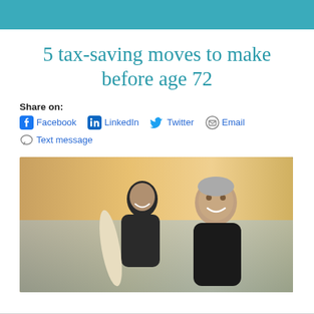5 tax-saving moves to make before age 72
Share on: Facebook LinkedIn Twitter Email Text message
[Figure (photo): Two older adults in black wetsuits on a beach, smiling; the woman in the foreground is smiling brightly; the man behind her holds a surfboard; warm sunset light in the background.]